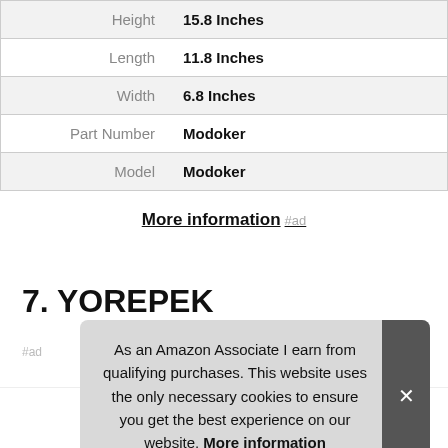|  |  |
| --- | --- |
| Height | 15.8 Inches |
| Length | 11.8 Inches |
| Width | 6.8 Inches |
| Part Number | Modoker |
| Model | Modoker |
More information #ad
7. YOREPEK
#ad
As an Amazon Associate I earn from qualifying purchases. This website uses the only necessary cookies to ensure you get the best experience on our website. More information